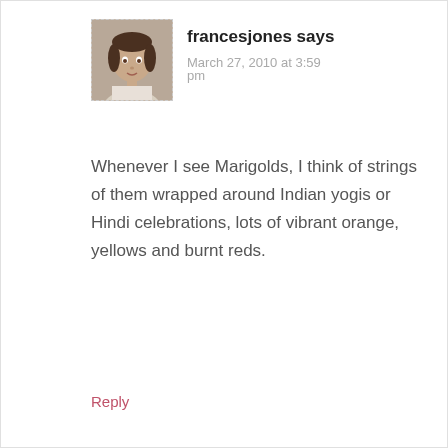[Figure (photo): Profile photo of a woman, used as commenter avatar]
francesjones says
March 27, 2010 at 3:59 pm
Whenever I see Marigolds, I think of strings of them wrapped around Indian yogis or Hindi celebrations, lots of vibrant orange, yellows and burnt reds.
Reply